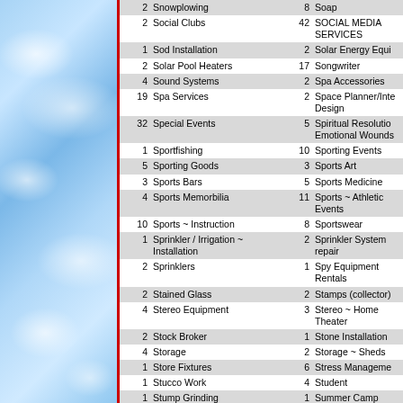| # | Category | # | Category |
| --- | --- | --- | --- |
| 2 | Snowplowing | 8 | Soap |
| 2 | Social Clubs | 42 | SOCIAL MEDIA SERVICES |
| 1 | Sod Installation | 2 | Solar Energy Equip |
| 2 | Solar Pool Heaters | 17 | Songwriter |
| 4 | Sound Systems | 2 | Spa Accessories |
| 19 | Spa Services | 2 | Space Planner/Inte Design |
| 32 | Special Events | 5 | Spiritual Resolution Emotional Wounds |
| 1 | Sportfishing | 10 | Sporting Events |
| 5 | Sporting Goods | 3 | Sports Art |
| 3 | Sports Bars | 5 | Sports Medicine |
| 4 | Sports Memorbilia | 11 | Sports ~ Athletic Events |
| 10 | Sports ~ Instruction | 8 | Sportswear |
| 1 | Sprinkler / Irrigation ~ Installation | 2 | Sprinkler System repair |
| 2 | Sprinklers | 1 | Spy Equipment Rentals |
| 2 | Stained Glass | 2 | Stamps (collector) |
| 4 | Stereo Equipment | 3 | Stereo ~ Home Theater |
| 2 | Stock Broker | 1 | Stone Installation |
| 4 | Storage | 2 | Storage ~ Sheds |
| 1 | Store Fixtures | 6 | Stress Management |
| 1 | Stucco Work | 4 | Student |
| 1 | Stump Grinding | 1 | Summer Camp |
| 2 | Summer Camps ~ Day camps | 5 | Sun Glasses |
| 1 | Sun Rooms | 1 | Sun Screens |
| 1 | Surfing School & Camp | 1 | Surveillance |
| 1 | Surveyor | 1 | Surveyors ~ Land |
| 3 | Swimming Pools | 2 | Swimming Pools ~ Service & Repair |
| 5 | T-Shirts-Silk Screened | 2 | Tailor |